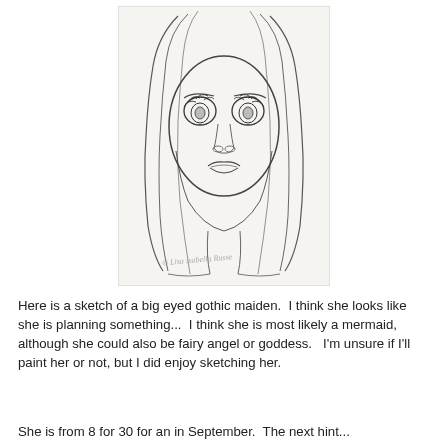[Figure (illustration): Pencil sketch of a big-eyed gothic maiden with long flowing hair, looking forward with large expressive eyes and slightly open lips. A copyright watermark reads '© Lisa Isabella Russe' in the lower portion of the sketch.]
Here is a sketch of a big eyed gothic maiden.  I think she looks like she is planning something...  I think she is most likely a mermaid, although she could also be fairy angel or goddess.   I'm unsure if I'll paint her or not, but I did enjoy sketching her.
She is from 8 for 30 for an in September. The next hint...